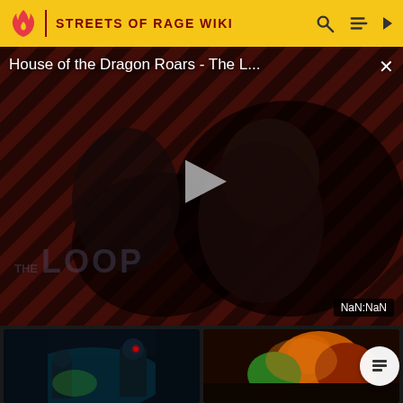STREETS OF RAGE WIKI
[Figure (screenshot): Video player showing 'House of the Dragon Roars - The L...' with a dark cinematic scene overlaid on a diagonal red-maroon striped background, a play button triangle in the center, THE LOOP watermark at bottom left, and NaN:NaN time display at bottom right, with a close X button top right]
[Figure (screenshot): Game screenshot thumbnail showing animated characters in dark blue/teal environment with robot and character with glowing red eye]
[Figure (screenshot): Game screenshot thumbnail showing animated fighting characters in orange/green color scheme]
[Figure (screenshot): Game screenshot thumbnail showing a character with long brown hair in a fighting game scene]
[Figure (screenshot): Game screenshot thumbnail showing fighting characters in a dark scene with golden/warm tones]